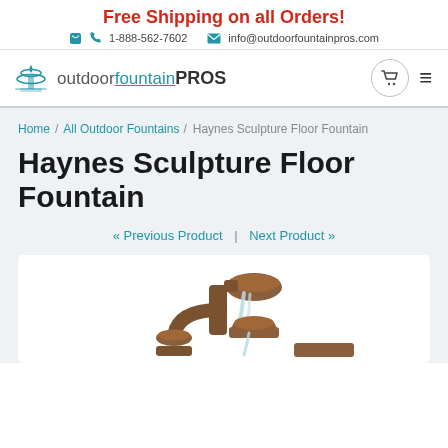Free Shipping on all Orders!
1-888-562-7602  info@outdoorfountainpros.com
[Figure (logo): Outdoor Fountain Pros logo with fountain icon]
« Previous Product  |  Next Product »
Home / All Outdoor Fountains / Haynes Sculpture Floor Fountain
Haynes Sculpture Floor Fountain
[Figure (photo): Photo of the Haynes Sculpture Floor Fountain, a tiered bronze/brown sculptural water fountain with bowls and cascading water]